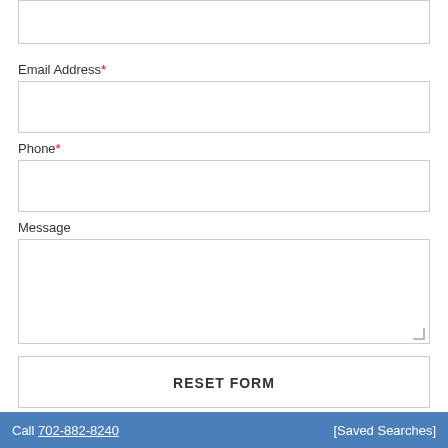[Figure (screenshot): A web contact form showing fields for Email Address (required), Phone (required), and Message, along with RESET FORM and SEND MESSAGE buttons, a data services attribution, and a footer with phone number and saved searches link.]
Email Address*
Phone*
Message
RESET FORM
SEND MESSAGE
Data services provided by IDX Broker
Call 702-882-8240  [Saved Searches]